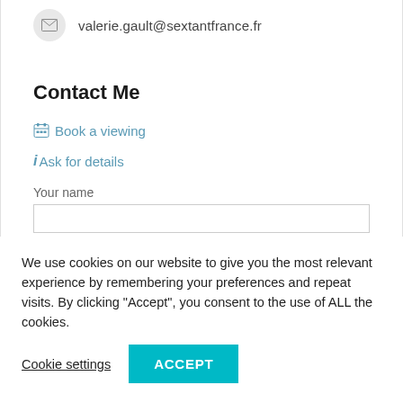valerie.gault@sextantfrance.fr
Contact Me
Book a viewing
Ask for details
Your name
We use cookies on our website to give you the most relevant experience by remembering your preferences and repeat visits. By clicking “Accept”, you consent to the use of ALL the cookies.
Cookie settings
ACCEPT